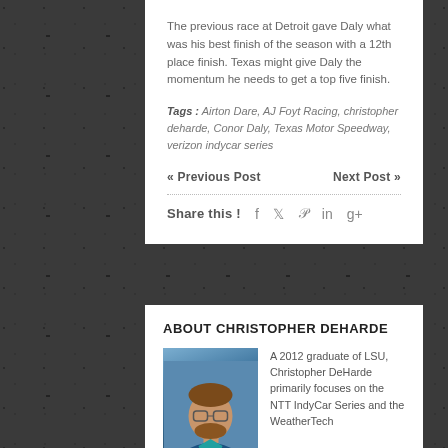The previous race at Detroit gave Daly what was his best finish of the season with a 12th place finish. Texas might give Daly the momentum he needs to get a top five finish.
Tags : Airton Dare, AJ Foyt Racing, christopher deharde, Conor Daly, Texas Motor Speedway, verizon indycar series
« Previous Post    Next Post »
Share this !  f  ✓  p  in  g+
ABOUT CHRISTOPHER DEHARDE
[Figure (photo): Photo of Christopher DeHarde, a man with brown hair and beard wearing glasses]
A 2012 graduate of LSU, Christopher DeHarde primarily focuses on the NTT IndyCar Series and the WeatherTech